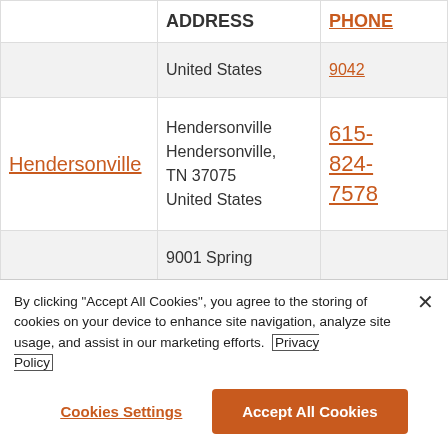|  | ADDRESS | PHONE |
| --- | --- | --- |
|  | United States | (partial phone) |
| Hendersonville | Hendersonville
Hendersonville, TN 37075
United States | 615-824-7578 |
|  | 9001 Spring |  |
By clicking "Accept All Cookies", you agree to the storing of cookies on your device to enhance site navigation, analyze site usage, and assist in our marketing efforts. Privacy Policy
Cookies Settings
Accept All Cookies